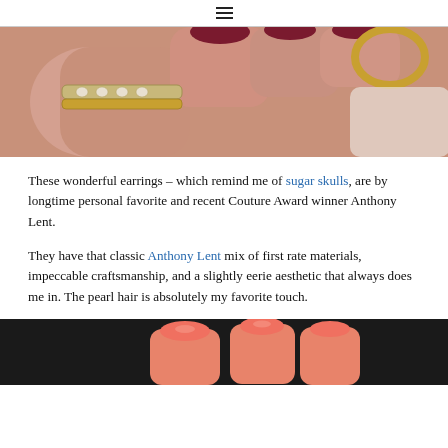[Figure (photo): Close-up photo of a hand wearing multiple rings — a diamond eternity band, a gold band, and gold hoop earrings visible — with dark red nail polish.]
These wonderful earrings – which remind me of sugar skulls, are by longtime personal favorite and recent Couture Award winner Anthony Lent.
They have that classic Anthony Lent mix of first rate materials, impeccable craftsmanship, and a slightly eerie aesthetic that always does me in. The pearl hair is absolutely my favorite touch.
[Figure (photo): Partial photo of a hand with coral/pink nail polish against a dark background, cropped at bottom of page.]